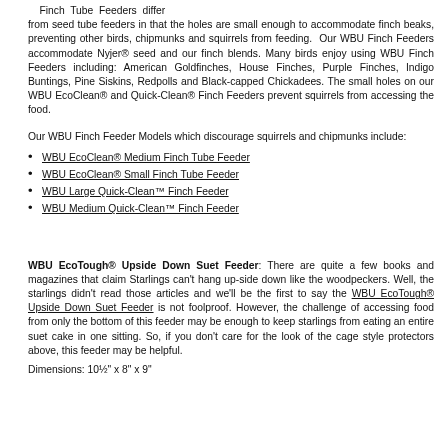Finch Tube Feeders differ from seed tube feeders in that the holes are small enough to accommodate finch beaks, preventing other birds, chipmunks and squirrels from feeding. Our WBU Finch Feeders accommodate Nyjer® seed and our finch blends. Many birds enjoy using WBU Finch Feeders including: American Goldfinches, House Finches, Purple Finches, Indigo Buntings, Pine Siskins, Redpolls and Black-capped Chickadees. The small holes on our WBU EcoClean® and Quick-Clean® Finch Feeders prevent squirrels from accessing the food.
Our WBU Finch Feeder Models which discourage squirrels and chipmunks include:
WBU EcoClean® Medium Finch Tube Feeder
WBU EcoClean® Small Finch Tube Feeder
WBU Large Quick-Clean™ Finch Feeder
WBU Medium Quick-Clean™ Finch Feeder
WBU EcoTough® Upside Down Suet Feeder: There are quite a few books and magazines that claim Starlings can't hang up-side down like the woodpeckers. Well, the starlings didn't read those articles and we'll be the first to say the WBU EcoTough® Upside Down Suet Feeder is not foolproof. However, the challenge of accessing food from only the bottom of this feeder may be enough to keep starlings from eating an entire suet cake in one sitting. So, if you don't care for the look of the cage style protectors above, this feeder may be helpful.
Dimensions: 10½" x 8" x 9"